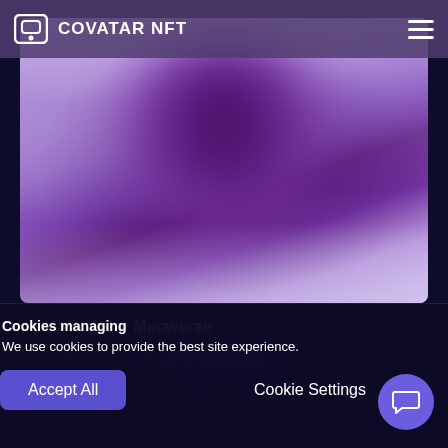COVATAR NFT
[Figure (illustration): Abstract blurred purple gradient orb on lavender background, representing a Covatar NFT hero image]
Q-Bots for Metaverse
Little virtual assistants for Metaverse.
Cookies managing
We use cookies to provide the best site experience.
Accept All
Cookie Settings